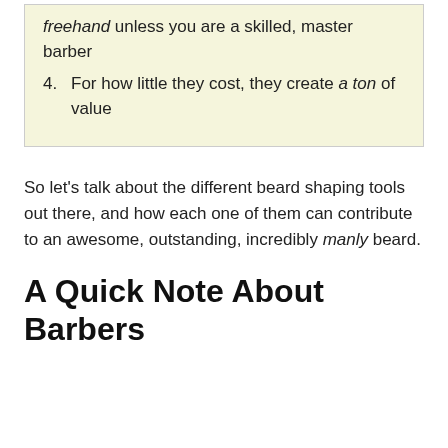freehand unless you are a skilled, master barber
4. For how little they cost, they create a ton of value
So let’s talk about the different beard shaping tools out there, and how each one of them can contribute to an awesome, outstanding, incredibly manly beard.
A Quick Note About Barbers